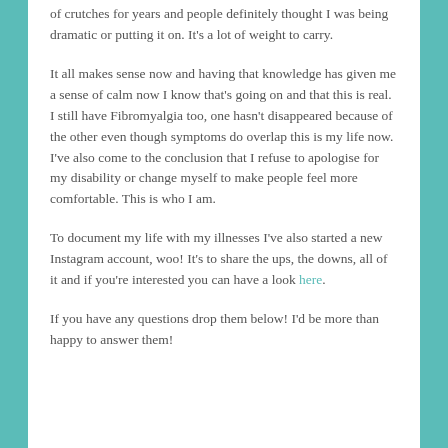of crutches for years and people definitely thought I was being dramatic or putting it on. It's a lot of weight to carry.
It all makes sense now and having that knowledge has given me a sense of calm now I know that's going on and that this is real. I still have Fibromyalgia too, one hasn't disappeared because of the other even though symptoms do overlap this is my life now. I've also come to the conclusion that I refuse to apologise for my disability or change myself to make people feel more comfortable. This is who I am.
To document my life with my illnesses I've also started a new Instagram account, woo! It's to share the ups, the downs, all of it and if you're interested you can have a look here.
If you have any questions drop them below! I'd be more than happy to answer them!